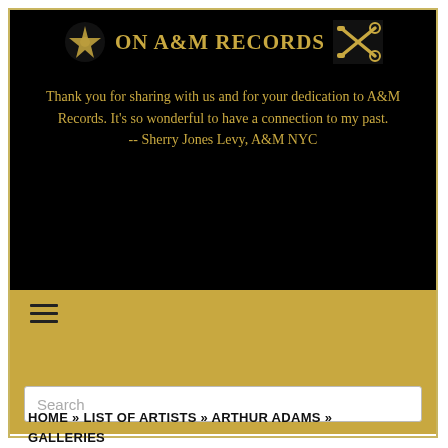[Figure (screenshot): Website header banner for 'On A&M Records' website. Black background with gold text 'ON A&M RECORDS' and decorative trumpet/star logo icons on each side. Below the header, a gold-colored quote reads: 'Thank you for sharing with us and for your dedication to A&M Records. It's so wonderful to have a connection to my past. -- Sherry Jones Levy, A&M NYC'. Below the banner is a gold navigation bar with a hamburger menu icon and a search box.]
HOME » LIST OF ARTISTS » ARTHUR ADAMS » GALLERIES